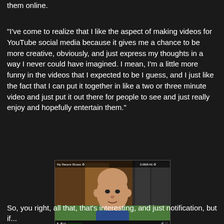them online.
"I've come to realize that I like the aspect of making videos for YouTube social media because it gives me a chance to be more creative, obviously, and just express my thoughts in a way I never could have imagined.  I mean, I'm a little more funny in the videos that I expected to be I guess, and I just like the fact that I can put it together in like a two or three minute video and just put it out there for people to see and just really enjoy and hopefully entertain them."
[Figure (screenshot): Screenshot of a YouTube video page showing a bald man in a blue shirt with title 'YOUTUBE SURVEY 2011 - Vlog 229']
So, you right, all that, that's interesting, and just notification, but if...